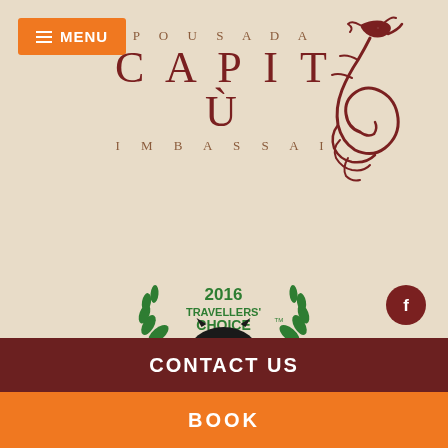[Figure (logo): Orange MENU button with hamburger icon in top left corner]
POUSADA CAPITÙ IMBASSAI
[Figure (illustration): Dark red decorative dragon/serpent illustration on the right side of the logo]
[Figure (logo): TripAdvisor 2016 Travellers Choice award badge with owl logo]
[Figure (illustration): Small red walking person with bag illustration]
[Figure (logo): Facebook social media dark red circle icon]
[Figure (logo): Instagram social media dark red circle icon]
[Figure (logo): YouTube social media dark red circle icon]
CONTACT US
BOOK